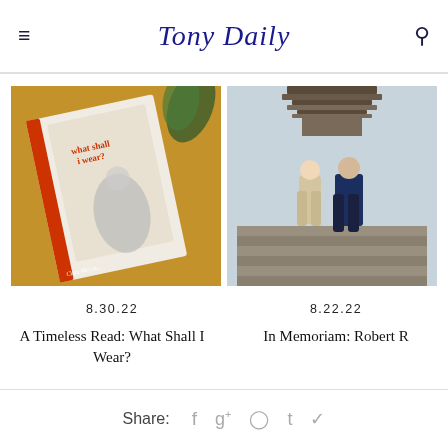Tony Daily
[Figure (photo): Book cover 'what shall i wear?' on a golden surface with plant leaves, featuring a vintage woman in a dress]
8.30.22
A Timeless Read: What Shall I Wear?
[Figure (photo): A blonde woman and older man walking down stone steps in front of a Japanese pagoda temple]
8.22.22
In Memoriam: Robert R
Share: f g+ p t bird-icon